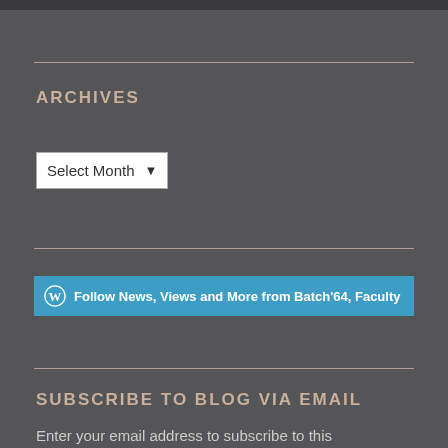ARCHIVES
Select Month
Follow News, Views and More from Batch'64, Faculty of Medicine, Colo
SUBSCRIBE TO BLOG VIA EMAIL
Enter your email address to subscribe to this